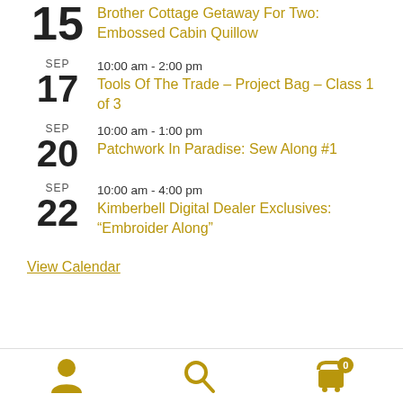15 Brother Cottage Getaway For Two: Embossed Cabin Quillow
SEP 17 10:00 am - 2:00 pm Tools Of The Trade – Project Bag – Class 1 of 3
SEP 20 10:00 am - 1:00 pm Patchwork In Paradise: Sew Along #1
SEP 22 10:00 am - 4:00 pm Kimberbell Digital Dealer Exclusives: "Embroider Along"
View Calendar